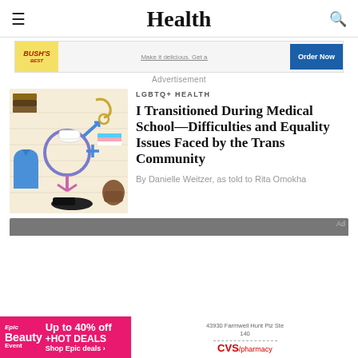Health
[Figure (screenshot): Bush's Best advertisement banner with yellow logo and blue Order Now button]
Advertisement
[Figure (photo): Illustration showing transgender gender symbols, books, medical scrubs, and other items on a striped background]
LGBTQ+ HEALTH
I Transitioned During Medical School—Difficulties and Equality Issues Faced by the Trans Community
By Danielle Weitzer, as told to Rita Omokha
[Figure (screenshot): Epic Beauty Event advertisement — Up to 40% off +HOT DEALS, Shop Epic deals]
[Figure (screenshot): CVS/pharmacy advertisement with address 43930 Farmwell Hunt Plz Ste 140]